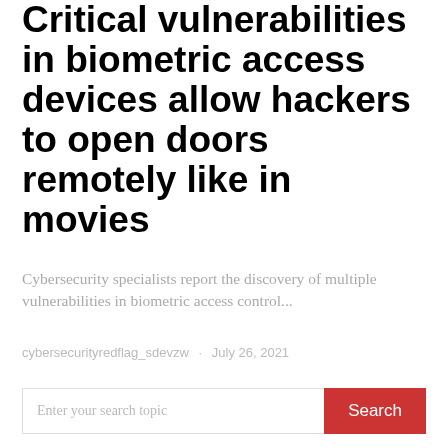Critical vulnerabilities in biometric access devices allow hackers to open doors remotely like in movies
Cybersecurity specialists report the discovery of multiple vulnerabilities in biometric access control...
cybersecurityredflag_sdevzw · July 26, 2021
Enter your search topic
RECENT POSTS